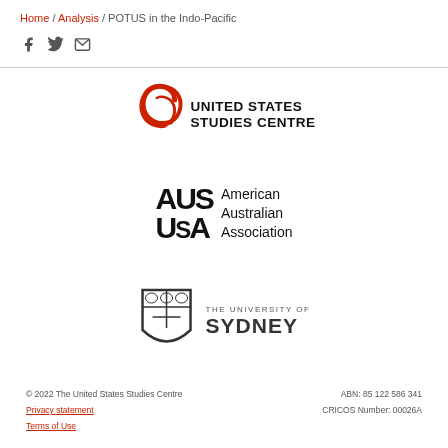Home / Analysis / POTUS in the Indo-Pacific
[Figure (logo): United States Studies Centre logo with red spiral icon and bold uppercase text]
[Figure (logo): American Australian Association logo with AUS USA letter mark and text]
[Figure (logo): The University of Sydney shield crest logo with text]
© 2022 The United States Studies Centre | Privacy statement | Terms of Use | ABN: 85 122 586 341 | CRICOS Number: 00026A